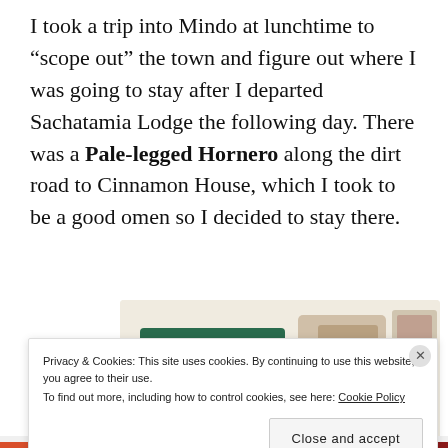I took a trip into Mindo at lunchtime to “scope out” the town and figure out where I was going to stay after I departed Sachatamia Lodge the following day. There was a Pale-legged Hornero along the dirt road to Cinnamon House, which I took to be a good omen so I decided to stay there.
[Figure (screenshot): Advertisement screenshot showing a beige/cream background with a green 'Explore options' button, food images, and a stylized 'A' logo.]
Privacy & Cookies: This site uses cookies. By continuing to use this website, you agree to their use.
To find out more, including how to control cookies, see here: Cookie Policy
Close and accept